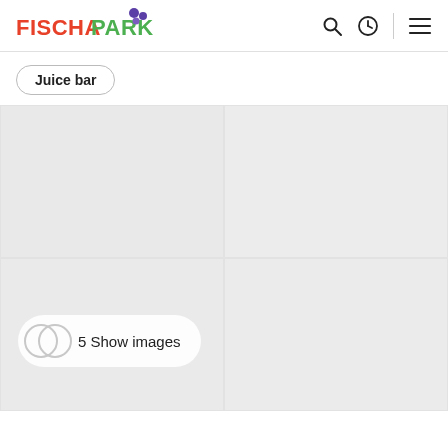[Figure (logo): Fischapark logo with colorful dot cluster]
Juice bar
[Figure (photo): Faded/loading image area with 5 Show images button overlay]